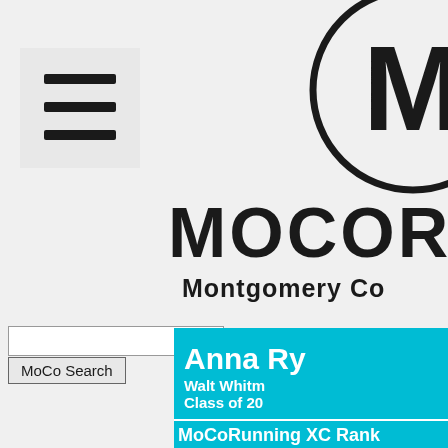[Figure (other): Hamburger menu icon with three horizontal bars on light gray background]
[Figure (logo): Partially visible circular logo with letter M, black stamp style]
MOCOR
Montgomery Co
MoCo Search
Anna Ry...
Walt Whitm...
Class of 20...
MoCoRunning XC Rank...